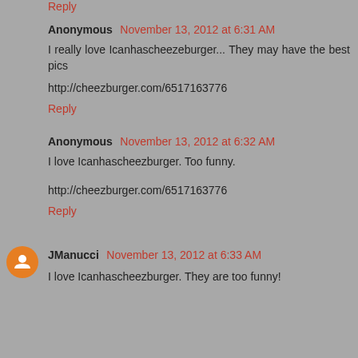Reply
Anonymous November 13, 2012 at 6:31 AM
I really love Icanhascheezeburger... They may have the best pics
http://cheezburger.com/6517163776
Reply
Anonymous November 13, 2012 at 6:32 AM
I love Icanhascheezburger. Too funny.
http://cheezburger.com/6517163776
Reply
JManucci November 13, 2012 at 6:33 AM
I love Icanhascheezburger. They are too funny!